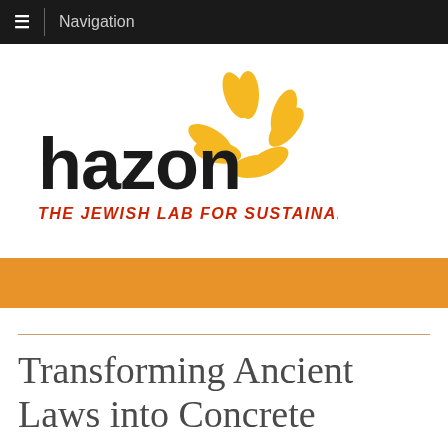Navigation
[Figure (logo): Hazon logo — bold black text 'hazon' with a yellow flower/sunflower graphic above, and red italic text 'THE JEWISH LAB FOR SUSTAINABILITY' below]
Transforming Ancient Laws into Concrete